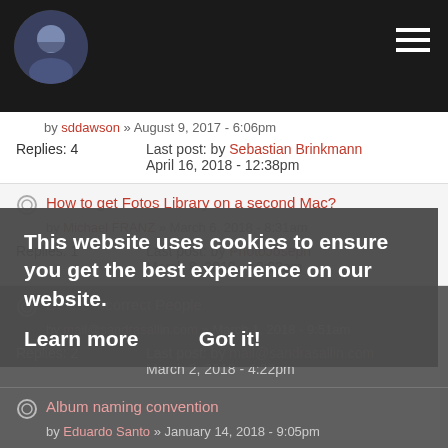Forum website header with avatar and hamburger menu
by sddawson » August 9, 2017 - 6:06pm
Replies: 4   Last post: by Sebastian Brinkmann
April 16, 2018 - 12:38pm
How to get Fotos Library on a second Mac?
by Michael FRANZ » March 6, 2018 - 8:31am
Replies: 1   Last post: by PhotoJoseph
March 8, 2018 - 10:03am
Delete incorrect People
by mail@sandrasallin.com » March 1, 2018 - 9:51am
Replies: 2   Last post: by mail@sandrasallin.com
March 2, 2018 - 4:22pm
Album naming convention
by Eduardo Santos » January 14, 2018 - 9:05pm
Replies: 1   Last post: by PhotoJoseph
This website uses cookies to ensure you get the best experience on our website.
Learn more   Got it!